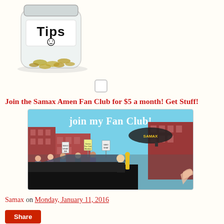[Figure (photo): A glass jar with 'Tips' written on a label with a smiley face, filled with coins]
[Figure (illustration): Small checkbox/icon graphic]
Join the Samax Amen Fan Club for $5 a month! Get Stuff!
[Figure (illustration): Cartoon illustration of a fan club parade scene with crowd holding signs, a blimp, and a car, text 'join my Fan Club!' at top]
Samax on Monday, January 11, 2016
Share